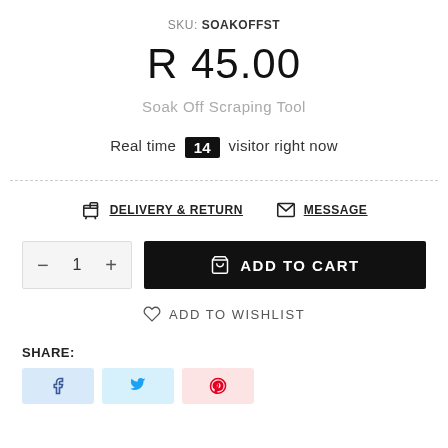SKU: SOAKOFFST
R 45.00
Soak Off Scraping Tool
Real time 14 visitor right now
DELIVERY & RETURN   MESSAGE
- 1 +   ADD TO CART
ADD TO WISHLIST
SHARE: